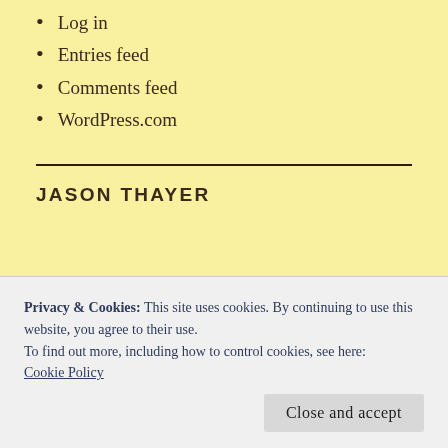Log in
Entries feed
Comments feed
WordPress.com
JASON THAYER
Privacy & Cookies: This site uses cookies. By continuing to use this website, you agree to their use.
To find out more, including how to control cookies, see here: Cookie Policy
Close and accept